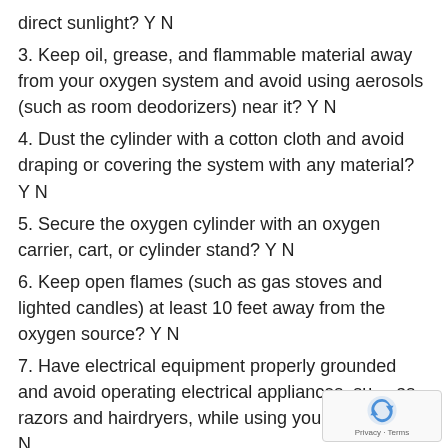direct sunlight? Y N
3. Keep oil, grease, and flammable material away from your oxygen system and avoid using aerosols (such as room deodorizers) near it? Y N
4. Dust the cylinder with a cotton cloth and avoid draping or covering the system with any material? Y N
5. Secure the oxygen cylinder with an oxygen carrier, cart, or cylinder stand? Y N
6. Keep open flames (such as gas stoves and lighted candles) at least 10 feet away from the oxygen source? Y N
7. Have electrical equipment properly grounded and avoid operating electrical appliances, such as razors and hairdryers, while using your oxygen? Y N